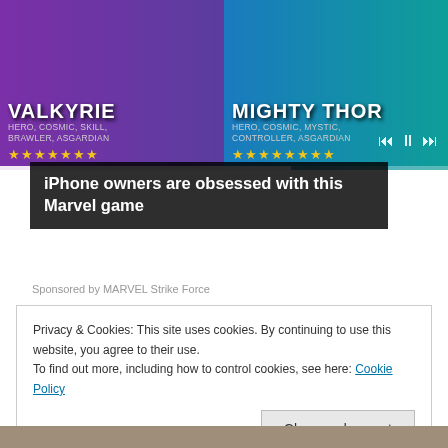[Figure (screenshot): Marvel Strike Force game advertisement showing Valkyrie and Mighty Thor characters with stars rating and media controls]
iPhone owners are obsessed with this Marvel game
Sponsored by MARVEL Strike Force
Privacy & Cookies: This site uses cookies. By continuing to use this website, you agree to their use.
To find out more, including how to control cookies, see here: Cookie Policy
Close and accept